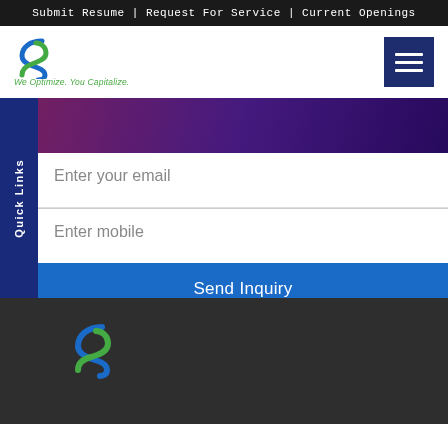Submit Resume | Request For Service | Current Openings
[Figure (logo): Systemart logo with blue and green S swoosh, text SYSTEMART in blue, tagline We Optimize. You Capitalize. in green italic]
[Figure (other): Dark navy hamburger menu button with three white horizontal lines]
[Figure (photo): Dark purple/blue hero banner background image with abstract blurred lighting]
Quick Links
Enter your email
Enter mobile
Send Inquiry
[Figure (logo): Systemart S logo (blue and green swoosh) in footer dark gray area]